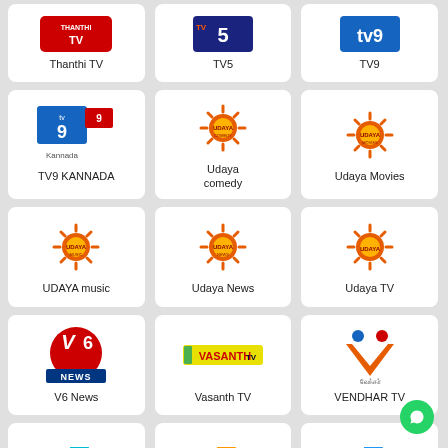[Figure (screenshot): Grid of TV channel logos and names: Thanthi TV, TV5, TV9, TV9 KANNADA, Udaya comedy, Udaya Movies, UDAYA music, Udaya News, Udaya TV, V6 News, Vasanth TV, VENDHAR TV, and three Zee channel logos at bottom]
Thanthi TV
TV5
TV9
TV9 KANNADA
Udaya comedy
Udaya Movies
UDAYA music
Udaya News
Udaya TV
V6 News
Vasanth TV
VENDHAR TV